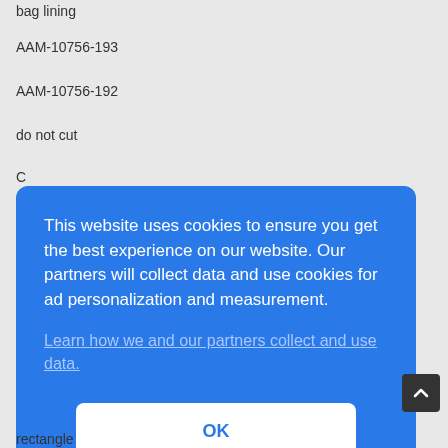bag lining
AAM-10756-193
AAM-10756-192
do not cut
C
This website uses cookies to ensure you get the best experience on our website. Our partners will collect data and use cookies for ad personalization and measurement.
Learn how we and our partners collect and use data.
OK
rectangle